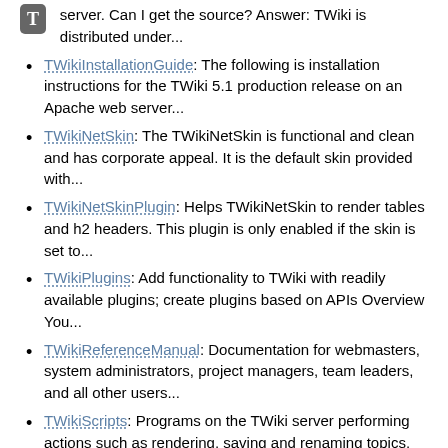server. Can I get the source? Answer: TWiki is distributed under...
TWikiInstallationGuide: The following is installation instructions for the TWiki 5.1 production release on an Apache web server...
TWikiNetSkin: The TWikiNetSkin is functional and clean and has corporate appeal. It is the default skin provided with...
TWikiNetSkinPlugin: Helps TWikiNetSkin to render tables and h2 headers. This plugin is only enabled if the skin is set to...
TWikiPlugins: Add functionality to TWiki with readily available plugins; create plugins based on APIs Overview You...
TWikiReferenceManual: Documentation for webmasters, system administrators, project managers, team leaders, and all other users...
TWikiScripts: Programs on the TWiki server performing actions such as rendering, saving and renaming topics. The TWiki...
TWikiSiteTools: Utilities for searching, navigation, and monitoring site activity TWiki Site Tools include utilities...